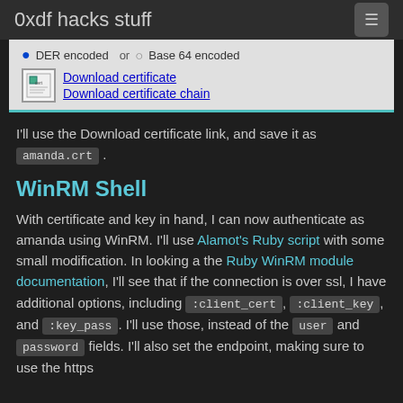0xdf hacks stuff
[Figure (screenshot): Screenshot of a certificate download UI showing DER encoded and Base64 encoded radio buttons, a certificate icon, and two links: 'Download certificate' and 'Download certificate chain', with a teal bottom border.]
I'll use the Download certificate link, and save it as amanda.crt.
WinRM Shell
With certificate and key in hand, I can now authenticate as amanda using WinRM. I'll use Alamot's Ruby script with some small modification. In looking a the Ruby WinRM module documentation, I'll see that if the connection is over ssl, I have additional options, including :client_cert, :client_key, and :key_pass. I'll use those, instead of the user and password fields. I'll also set the endpoint, making sure to use the https